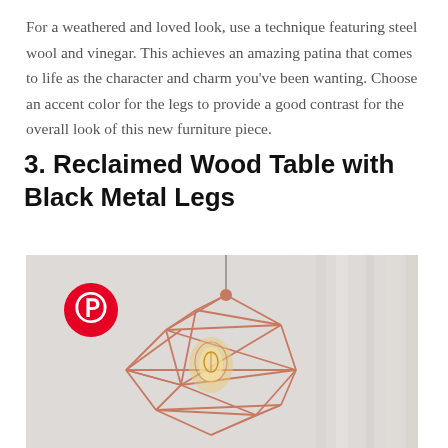For a weathered and loved look, use a technique featuring steel wool and vinegar. This achieves an amazing patina that comes to life as the character and charm you've been wanting. Choose an accent color for the legs to provide a good contrast for the overall look of this new furniture piece.
3. Reclaimed Wood Table with Black Metal Legs
[Figure (photo): A geometric copper wire pendant lamp with an Edison-style bulb hanging against a light grey curtain background, with a Pinterest logo badge overlaid in the upper left.]